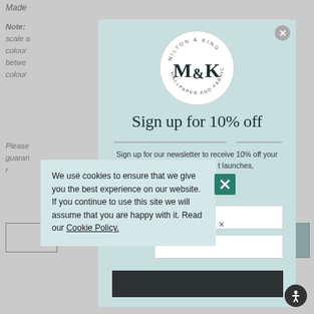Made
Note: ... scale a ... colour ... between ... colour ...
Please ... guarantee ... r...
[Figure (screenshot): Milton & King Wallpaper and Fabric Co. modal popup with logo circle, 'Sign up for 10% off' heading, newsletter signup text, and input fields on a light teal background. Also includes a cookie consent banner overlay.]
We use cookies to ensure that we give you the best experience on our website. If you continue to use this site we will assume that you are happy with it. Read our Cookie Policy.